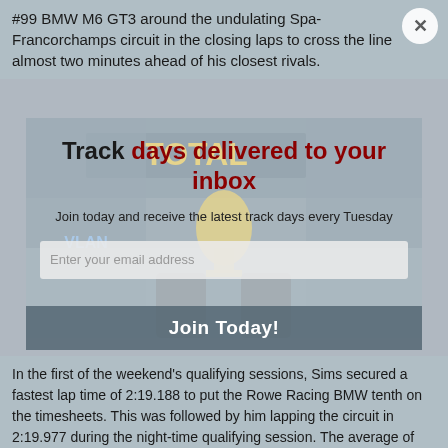#99 BMW M6 GT3 around the undulating Spa-Francorchamps circuit in the closing laps to cross the line almost two minutes ahead of his closest rivals.
[Figure (photo): Racing podium photo with trophy, overlaid by email signup modal reading 'Track days delivered to your inbox'. Modal contains subtitle 'Join today and receive the latest track days every Tuesday', an email input field, and a 'Join Today!' button.]
In the first of the weekend's qualifying sessions, Sims secured a fastest lap time of 2:19.188 to put the Rowe Racing BMW tenth on the timesheets. This was followed by him lapping the circuit in 2:19.977 during the night-time qualifying session. The average of the two times put the trio into the top 20 cars, advancing them to the Super Pole qualifying session.
Sims took to the wheel of the #99 BMW M6 GT3 for